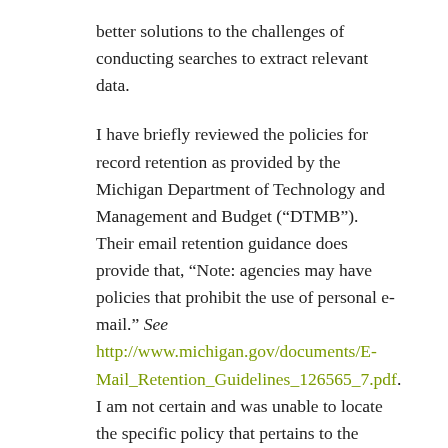better solutions to the challenges of conducting searches to extract relevant data.
I have briefly reviewed the policies for record retention as provided by the Michigan Department of Technology and Management and Budget (“DTMB”). Their email retention guidance does provide that, “Note: agencies may have policies that prohibit the use of personal e-mail.” See http://www.michigan.gov/documents/E-Mail_Retention_Guidelines_126565_7.pdf. I am not certain and was unable to locate the specific policy that pertains to the Governor and his staff, which I am hoping will be addressed by the Administration soon. I was also unable to locate any discussion regarding tools and methodology adopted in searching and